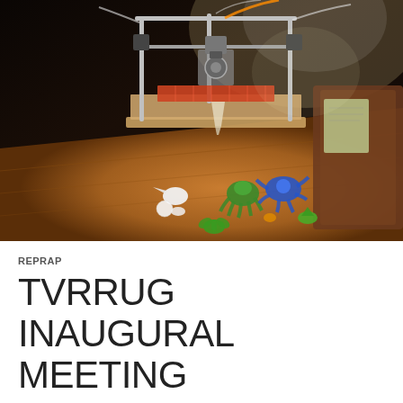[Figure (photo): A RepRap 3D printer sitting on a wooden table in a dimly lit room. Several small 3D-printed objects are arranged on the table in front of the printer including green, blue, and white figurines such as octopi, fleur-de-lis, and other shapes. A chair is visible in the background on the right.]
REPRAP
TVRRUG INAUGURAL MEETING
OCTOBER 4  HANNAH  LEAVE A COMMENT